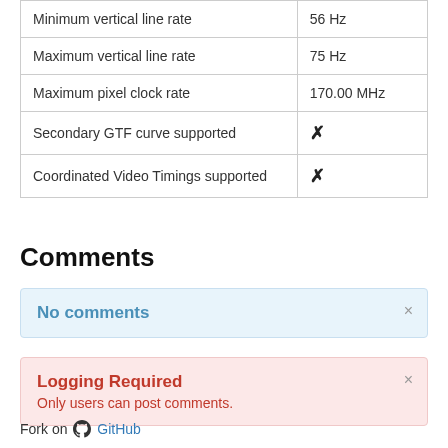| Property | Value |
| --- | --- |
| Minimum vertical line rate | 56 Hz |
| Maximum vertical line rate | 75 Hz |
| Maximum pixel clock rate | 170.00 MHz |
| Secondary GTF curve supported | ✖ |
| Coordinated Video Timings supported | ✖ |
Comments
No comments
Logging Required
Only users can post comments.
Fork on GitHub